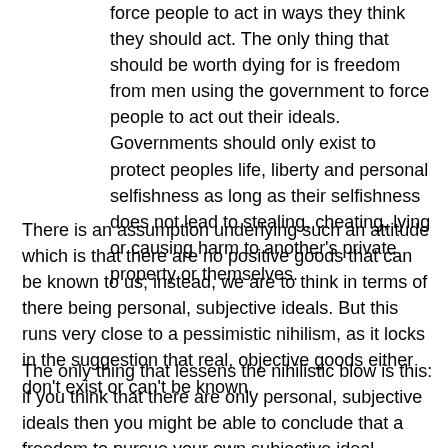force people to act in ways they think they should act. The only thing that should be worth dying for is freedom from men using the government to force people to act out their ideals. Governments should only exist to protect peoples life, liberty and personal selfishness as long as their selfishness does not lead to stealing, cheating, lying or causing harm to another's private property or themselves.
There is an assumption underlying such an attitude which is that there are no positive goods that can be known to us; instead, we are to think in terms of there being personal, subjective ideals. But this runs very close to a pessimistic nihilism, as it locks in the suggestion that real, objective goods either don't exist or can't be known.
The only thing that lessens the nihilistic blow is this: if you think that there are only personal, subjective ideals then you might be able to conclude that a freedom to pursue your own subjective ideal unhindered becomes the one significant good that can be recognised to exist.